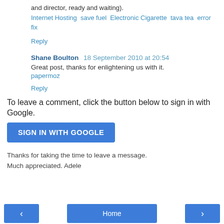and director, ready and waiting).
Internet Hosting save fuel Electronic Cigarette tava tea error fix
Reply
Shane Boulton  18 September 2010 at 20:54
Great post, thanks for enlightening us with it.
papermoz
Reply
To leave a comment, click the button below to sign in with Google.
SIGN IN WITH GOOGLE
Thanks for taking the time to leave a message.
Much appreciated. Adele
Home